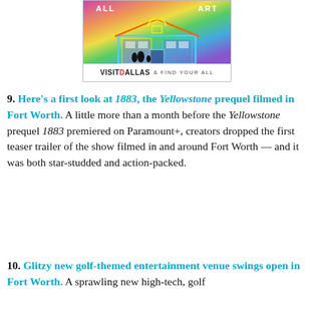[Figure (illustration): Advertisement for Visit Dallas showing a colorful neon art installation of a house-shaped greenhouse structure with silhouettes of people viewing it. Text reads 'ALL ART' at top and 'VISIT DALLAS & FIND YOUR ALL' at bottom.]
9. Here's a first look at 1883, the Yellowstone prequel filmed in Fort Worth. A little more than a month before the Yellowstone prequel 1883 premiered on Paramount+, creators dropped the first teaser trailer of the show filmed in and around Fort Worth — and it was both star-studded and action-packed.
10. Glitzy new golf-themed entertainment venue swings open in Fort Worth. A sprawling new high-tech, golf